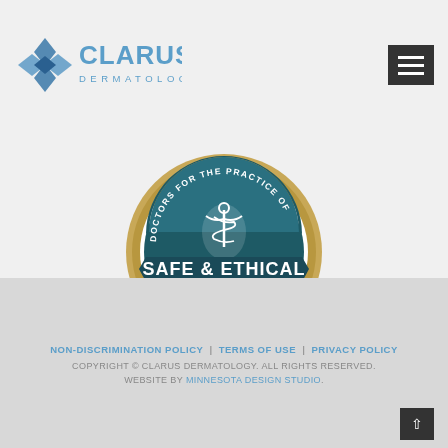[Figure (logo): Clarus Dermatology logo with diamond icon and text 'CLARUS DERMATOLOGY']
[Figure (illustration): Seal badge reading 'DOCTORS FOR THE PRACTICE OF SAFE & ETHICAL AESTHETIC MEDICINE - SEAL OF APPROVAL']
NON-DISCRIMINATION POLICY | TERMS OF USE | PRIVACY POLICY
COPYRIGHT © CLARUS DERMATOLOGY. ALL RIGHTS RESERVED.
WEBSITE BY MINNESOTA DESIGN STUDIO.